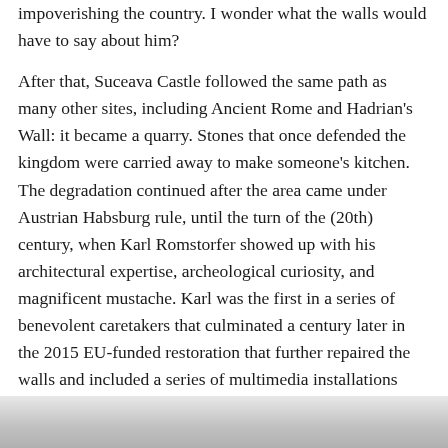impoverishing the country. I wonder what the walls would have to say about him?
After that, Suceava Castle followed the same path as many other sites, including Ancient Rome and Hadrian's Wall: it became a quarry. Stones that once defended the kingdom were carried away to make someone's kitchen. The degradation continued after the area came under Austrian Habsburg rule, until the turn of the (20th) century, when Karl Romstorfer showed up with his architectural expertise, archeological curiosity, and magnificent mustache. Karl was the first in a series of benevolent caretakers that culminated a century later in the 2015 EU-funded restoration that further repaired the walls and included a series of multimedia installations (plus everyone's favorite, two new bathrooms!)
[Figure (photo): Bottom edge of a photograph, partially visible — appears to show a light-colored sculptural or architectural element against a white background.]